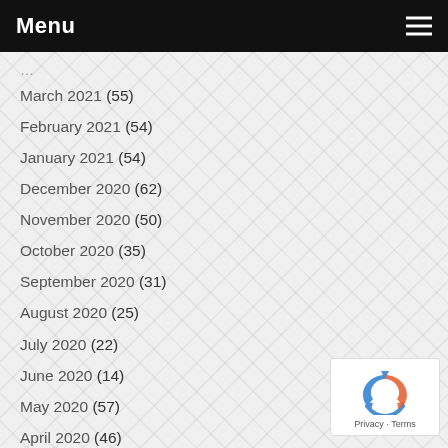Menu
March 2021 (55)
February 2021 (54)
January 2021 (54)
December 2020 (62)
November 2020 (50)
October 2020 (35)
September 2020 (31)
August 2020 (25)
July 2020 (22)
June 2020 (14)
May 2020 (57)
April 2020 (46)
March 2020 (51)
February 2020 (44)
January 2020 (39)